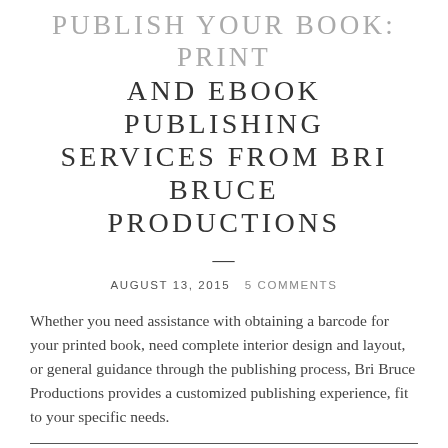PUBLISH YOUR BOOK: PRINT AND EBOOK PUBLISHING SERVICES FROM BRI BRUCE PRODUCTIONS
AUGUST 13, 2015   5 COMMENTS
Whether you need assistance with obtaining a barcode for your printed book, need complete interior design and layout, or general guidance through the publishing process, Bri Bruce Productions provides a customized publishing experience, fit to your specific needs.
____ CHOOSE FROM AN EXTENSIVE LIST OF PUBLISHING SERVICES: - Book cover design - for print or [...]